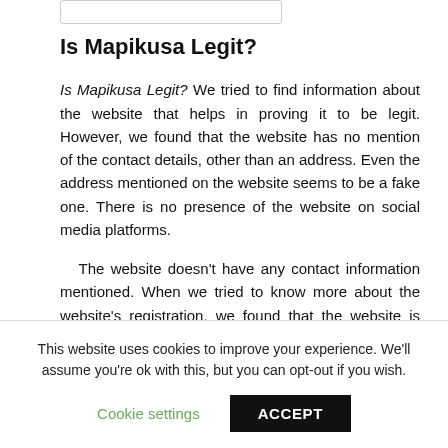Is Mapikusa Legit?
Is Mapikusa Legit? We tried to find information about the website that helps in proving it to be legit. However, we found that the website has no mention of the contact details, other than an address. Even the address mentioned on the website seems to be a fake one. There is no presence of the website on social media platforms.
The website doesn't have any contact information mentioned. When we tried to know more about the website's registration, we found that the website is only
This website uses cookies to improve your experience. We'll assume you're ok with this, but you can opt-out if you wish.
Cookie settings   ACCEPT